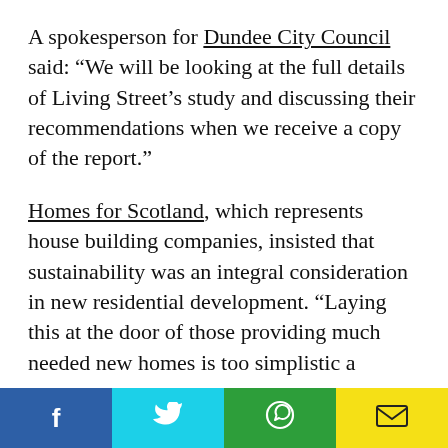A spokesperson for Dundee City Council said: “We will be looking at the full details of Living Street’s study and discussing their recommendations when we receive a copy of the report.”
Homes for Scotland, which represents house building companies, insisted that sustainability was an integral consideration in new residential development. “Laying this at the door of those providing much needed new homes is too simplistic a